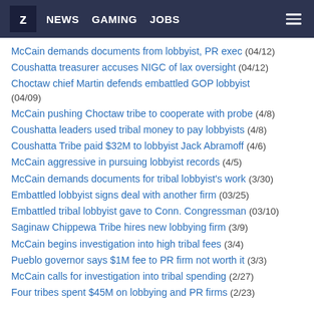Z NEWS GAMING JOBS
McCain demands documents from lobbyist, PR exec (04/12)
Coushatta treasurer accuses NIGC of lax oversight (04/12)
Choctaw chief Martin defends embattled GOP lobbyist (04/09)
McCain pushing Choctaw tribe to cooperate with probe (4/8)
Coushatta leaders used tribal money to pay lobbyists (4/8)
Coushatta Tribe paid $32M to lobbyist Jack Abramoff (4/6)
McCain aggressive in pursuing lobbyist records (4/5)
McCain demands documents for tribal lobbyist's work (3/30)
Embattled lobbyist signs deal with another firm (03/25)
Embattled tribal lobbyist gave to Conn. Congressman (03/10)
Saginaw Chippewa Tribe hires new lobbying firm (3/9)
McCain begins investigation into high tribal fees (3/4)
Pueblo governor says $1M fee to PR firm not worth it (3/3)
McCain calls for investigation into tribal spending (2/27)
Four tribes spent $45M on lobbying and PR firms (2/23)